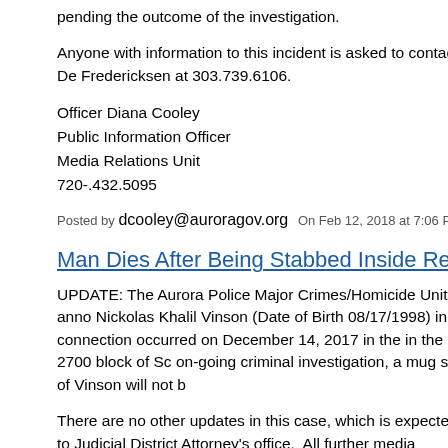pending the outcome of the investigation.
Anyone with information to this incident is asked to contact De Fredericksen at 303.739.6106.
Officer Diana Cooley
Public Information Officer
Media Relations Unit
720-.432.5095
Posted by dcooley@auroragov.org  On Feb 12, 2018 at 7:06 PM
Man Dies After Being Stabbed Inside Resid
UPDATE: The Aurora Police Major Crimes/Homicide Unit anno Nickolas Khalil Vinson (Date of Birth 08/17/1998) in connection occurred on December 14, 2017 in the in the 2700 block of Sc on-going criminal investigation, a mug shot of Vinson will not b
There are no other updates in this case, which is expected to Judicial District Attorney's office.  All further media inquires sho office.